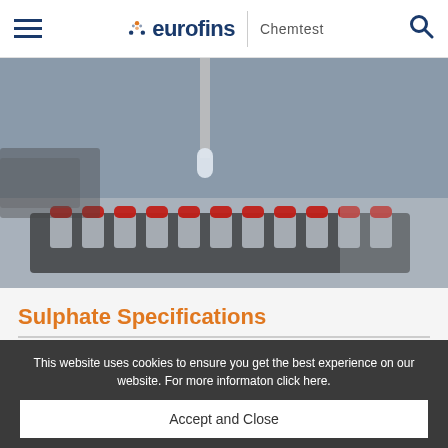eurofins | Chemtest
[Figure (photo): Laboratory autosampler with rows of small glass vials with red caps in a sample tray, with a needle/injector above]
Sulphate Specifications
Home / Services / Sulphate Specifications
This website uses cookies to ensure you get the best experience on our website. For more informaton click here.
Accept and Close